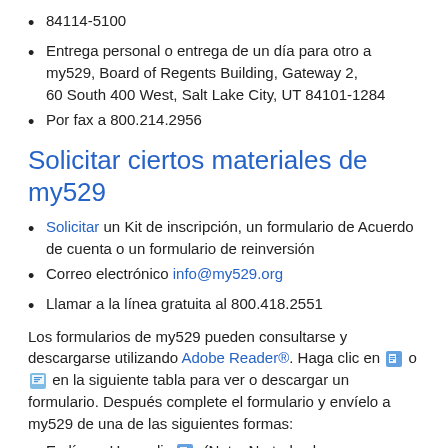84114-5100
Entrega personal o entrega de un día para otro a my529, Board of Regents Building, Gateway 2, 60 South 400 West, Salt Lake City, UT 84101-1284
Por fax a 800.214.2956
Solicitar ciertos materiales de my529
Solicitar un Kit de inscripción, un formulario de Acuerdo de cuenta o un formulario de reinversión
Correo electrónico info@my529.org
Llamar a la línea gratuita al 800.418.2551
Los formularios de my529 pueden consultarse y descargarse utilizando Adobe Reader®. Haga clic en [icon] o [icon] en la siguiente tabla para ver o descargar un formulario. Después complete el formulario y envíelo a my529 de una de las siguientes formas:
En línea: Haga clic [icon]. (Nota: No todas las transacciones pueden realizarse en línea).
Fax: Haga clic [icon], llene la información e imprima. Envíe por fax